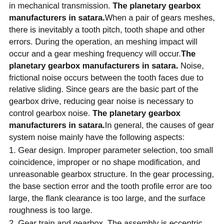in mechanical transmission. The planetary gearbox manufacturers in satara. When a pair of gears meshes, there is inevitably a tooth pitch, tooth shape and other errors. During the operation, an meshing impact will occur and a gear meshing frequency will occur. The planetary gearbox manufacturers in satara. Noise, frictional noise occurs between the tooth faces due to relative sliding. Since gears are the basic part of the gearbox drive, reducing gear noise is necessary to control gearbox noise. The planetary gearbox manufacturers in satara. In general, the causes of gear system noise mainly have the following aspects:
1. Gear design. Improper parameter selection, too small coincidence, improper or no shape modification, and unreasonable gearbox structure. In the gear processing, the base section error and the tooth profile error are too large, the flank clearance is too large, and the surface roughness is too large.
2. Gear train and gearbox. The assembly is eccentric, the